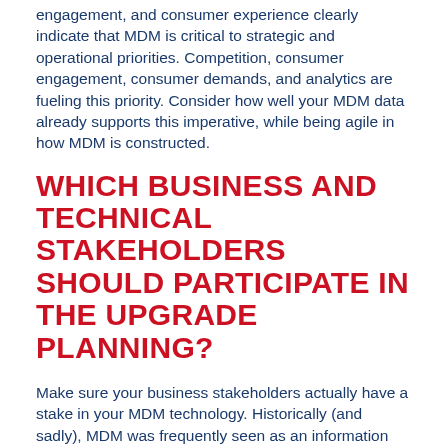engagement, and consumer experience clearly indicate that MDM is critical to strategic and operational priorities. Competition, consumer engagement, consumer demands, and analytics are fueling this priority. Consider how well your MDM data already supports this imperative, while being agile in how MDM is constructed.
WHICH BUSINESS AND TECHNICAL STAKEHOLDERS SHOULD PARTICIPATE IN THE UPGRADE PLANNING?
Make sure your business stakeholders actually have a stake in your MDM technology. Historically (and sadly), MDM was frequently seen as an information technology project. Today, your business stakeholders should be actively engaged in